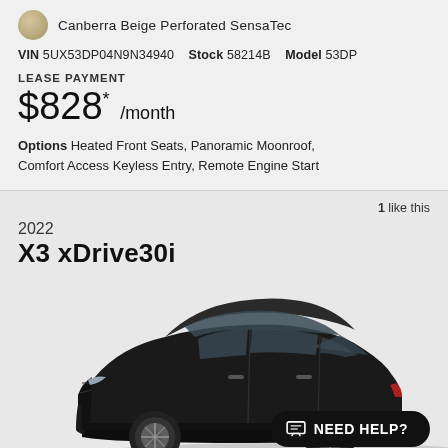Canberra Beige Perforated SensaTec
VIN 5UX53DP04N9N34940  Stock 58214B  Model 53DP
LEASE PAYMENT
$828* /month
Options Heated Front Seats, Panoramic Moonroof, Comfort Access Keyless Entry, Remote Engine Start
1 like this
2022
X3 xDrive30i
[Figure (photo): Side profile photo of a 2022 BMW X3 xDrive30i in black, shown on a light grey background.]
NEED HELP?